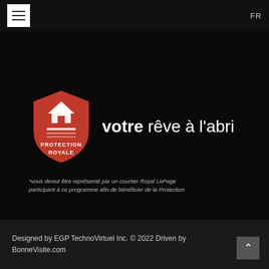FR
[Figure (logo): Protection Royale shield logo in red with white house icon and horizontal lines, with text 'votre rêve à l'abri' beside it]
*vous devez être représenté par un courtier Royal LePage participant à ce programme afin de bénéficier de la Protection
[Figure (logo): Royal LePage Commercial logo with stylized bar chart icon in red and grey and the word COMMERCIAL in white bold text]
[Figure (logo): Maisons de Prestige / Carriage Trade Luxury Properties logo with horse icon in bordered box]
Designed by EGP TechnoVirtuel Inc. © 2022 Driven by BonneVisite.com